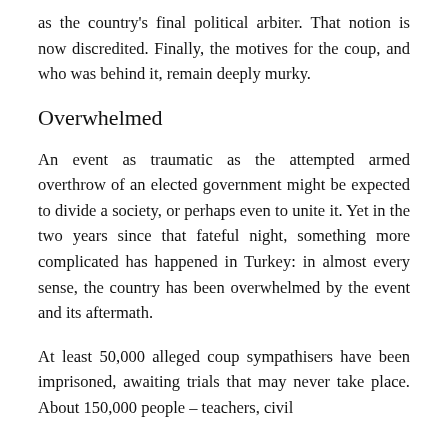as the country's final political arbiter. That notion is now discredited. Finally, the motives for the coup, and who was behind it, remain deeply murky.
Overwhelmed
An event as traumatic as the attempted armed overthrow of an elected government might be expected to divide a society, or perhaps even to unite it. Yet in the two years since that fateful night, something more complicated has happened in Turkey: in almost every sense, the country has been overwhelmed by the event and its aftermath.
At least 50,000 alleged coup sympathisers have been imprisoned, awaiting trials that may never take place. About 150,000 people – teachers, civil